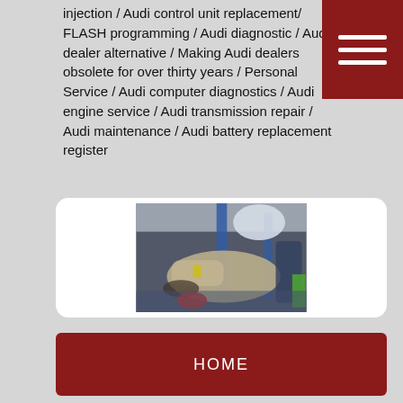injection / Audi control unit replacement/ FLASH programming / Audi diagnostic / Audi dealer alternative / Making Audi dealers obsolete for over thirty years / Personal Service / Audi computer diagnostics / Audi engine service / Audi transmission repair / Audi maintenance / Audi battery replacement register
[Figure (photo): Blurry photo of a car workshop interior with a vehicle being worked on. Car lifts and equipment visible in a garage setting.]
HOME